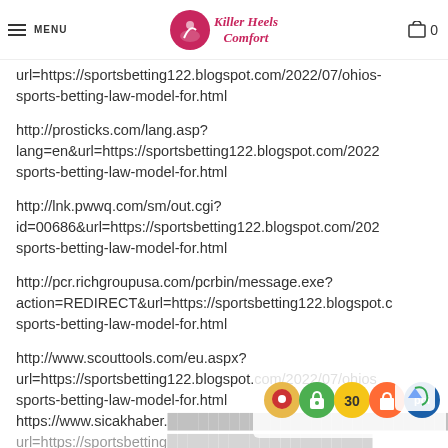MENU | Killer Heels Comfort | 0
url=https://sportsbetting122.blogspot.com/2022/07/ohios-sports-betting-law-model-for.html
http://prosticks.com/lang.asp?lang=en&url=https://sportsbetting122.blogspot.com/2022/sports-betting-law-model-for.html
http://lnk.pwwq.com/sm/out.cgi?id=00686&url=https://sportsbetting122.blogspot.com/2022/sports-betting-law-model-for.html
http://pcr.richgroupusa.com/pcrbin/message.exe?action=REDIRECT&url=https://sportsbetting122.blogspot.com/sports-betting-law-model-for.html
http://www.scouttools.com/eu.aspx?url=https://sportsbetting122.blogspot.com/2022/07/ohios-sports-betting-law-model-for.html
https://www.sicakhaber.com/...url=https://sportsbetting122.blogspot.com/2022/07/ohios...